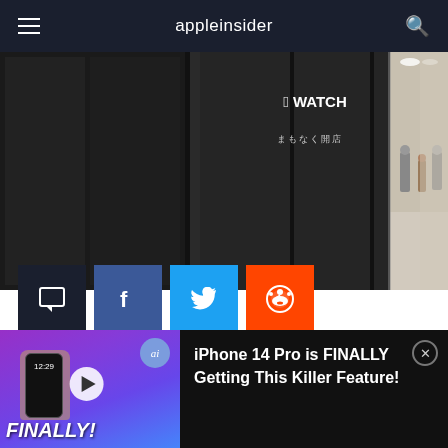appleinsider
[Figure (photo): Apple Watch store display with dark panels showing Apple Watch logo and Japanese text, with a bright corridor and shoppers visible on the right side]
[Figure (infographic): Social sharing buttons: comment (dark), Facebook (blue), Twitter (light blue), Reddit (orange)]
AppleInsider is supported by its audience and may earn commission as an Amazon Associate and affiliate
[Figure (screenshot): Video promo bar: thumbnail showing hand holding iPhone with purple background and FINALLY! text overlay, with ai badge, play button. Right side dark background with text: iPhone 14 Pro is FINALLY Getting This Killer Feature! and a close button.]